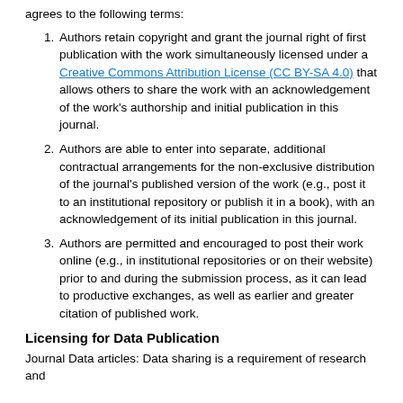agrees to the following terms:
Authors retain copyright and grant the journal right of first publication with the work simultaneously licensed under a Creative Commons Attribution License (CC BY-SA 4.0) that allows others to share the work with an acknowledgement of the work's authorship and initial publication in this journal.
Authors are able to enter into separate, additional contractual arrangements for the non-exclusive distribution of the journal's published version of the work (e.g., post it to an institutional repository or publish it in a book), with an acknowledgement of its initial publication in this journal.
Authors are permitted and encouraged to post their work online (e.g., in institutional repositories or on their website) prior to and during the submission process, as it can lead to productive exchanges, as well as earlier and greater citation of published work.
Licensing for Data Publication
Journal Data articles: Data sharing is a requirement of research and